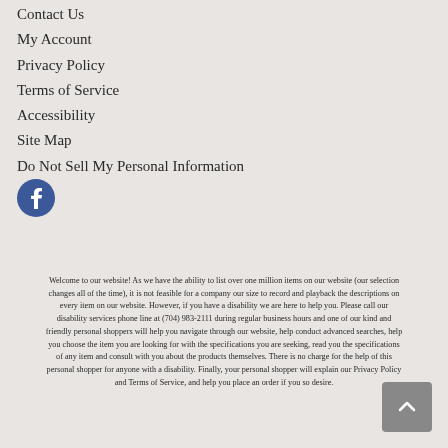Contact Us
My Account
Privacy Policy
Terms of Service
Accessibility
Site Map
Do Not Sell My Personal Information
[Figure (logo): Facebook social media icon - circular blue icon with white 'f' letter]
Welcome to our website! As we have the ability to list over one million items on our website (our selection changes all of the time), it is not feasible for a company our size to record and playback the descriptions on every item on our website. However, if you have a disability we are here to help you. Please call our disability services phone line at (704) 983-2111 during regular business hours and one of our kind and friendly personal shoppers will help you navigate through our website, help conduct advanced searches, help you choose the item you are looking for with the specifications you are seeking, read you the specifications of any item and consult with you about the products themselves. There is no charge for the help of this personal shopper for anyone with a disability. Finally, your personal shopper will explain our Privacy Policy and Terms of Service, and help you place an order if you so desire.